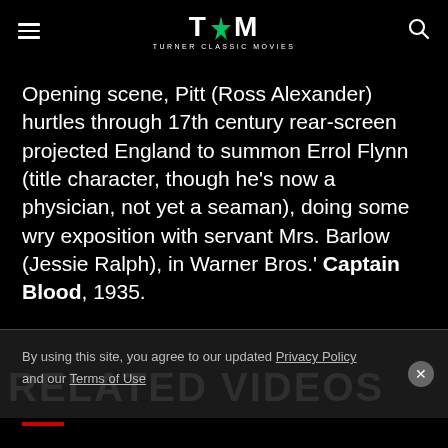TCM - TURNER CLASSIC MOVIES
Opening scene, Pitt (Ross Alexander) hurtles through 17th century rear-screen projected England to summon Errol Flynn (title character, though he's now a physician, not yet a seaman), doing some wry exposition with servant Mrs. Barlow (Jessie Ralph), in Warner Bros.' Captain Blood, 1935.
By using this site, you agree to our updated Privacy Policy and our Terms of Use